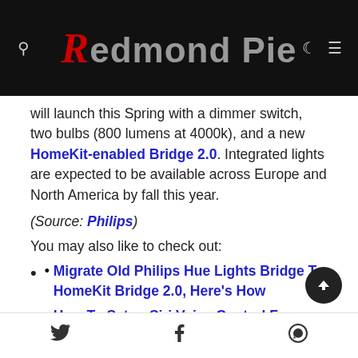Redmond Pie
will launch this Spring with a dimmer switch, two bulbs (800 lumens at 4000k), and a new HomeKit-enabled Bridge 2.0. Integrated lights are expected to be available across Europe and North America by fall this year.
(Source: Philips)
You may also like to check out:
Migrate Old Philips Hue Lights Bridge To HomeKit Bridge 2.0, Here's How
How To Setup Siri Voice Control For Philips Hue Light Bulbs
You can follow us on Twitter, add us to your circle